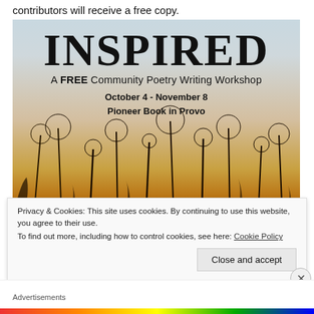contributors will receive a free copy.
[Figure (illustration): INSPIRED – A FREE Community Poetry Writing Workshop poster. Large serif 'INSPIRED' title at top, subtitle 'A FREE Community Poetry Writing Workshop', dates 'October 4 - November 8 / Pioneer Book in Provo', over a background photo of dandelion silhouettes at sunset.]
Privacy & Cookies: This site uses cookies. By continuing to use this website, you agree to their use.
To find out more, including how to control cookies, see here: Cookie Policy
Close and accept
Advertisements